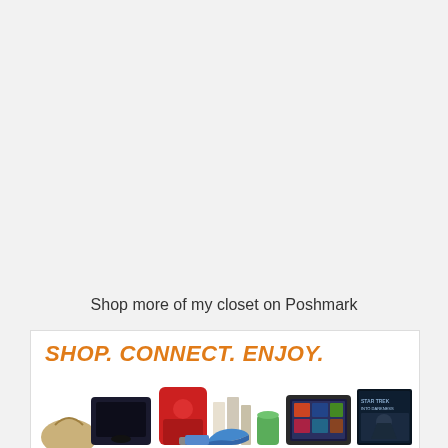[Figure (screenshot): Mobile web browser UI showing an 'OPEN IN APP' pill button with an X close button on a light gray background]
Shop more of my closet on Poshmark
[Figure (illustration): Poshmark banner ad with orange italic text 'SHOP. CONNECT. ENJOY.' and product images including a handbag, PS4 console, KitchenAid mixer, books, Kindle tablet, and Star Trek movie Blu-ray]